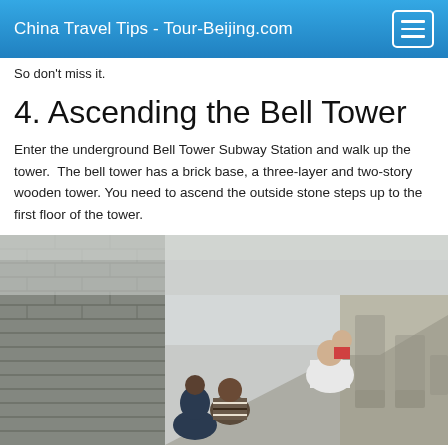China Travel Tips - Tour-Beijing.com
So don't miss it.
4. Ascending the Bell Tower
Enter the underground Bell Tower Subway Station and walk up the tower.  The bell tower has a brick base, a three-layer and two-story wooden tower. You need to ascend the outside stone steps up to the first floor of the tower.
[Figure (photo): Tourists climbing the outside stone steps of the Bell Tower, viewed from behind. Stone balustrades on the right side, brick wall on the left. Overcast sky.]